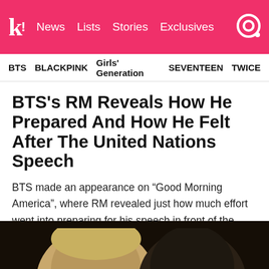k! News Lists Stories Exclusives
BTS  BLACKPINK  Girls' Generation  SEVENTEEN  TWICE
BTS's RM Reveals How He Prepared And How He Felt After The United Nations Speech
BTS made an appearance on “Good Morning America”, where RM revealed just how much effort went into preparing for his speech in front of the United Nations.
[Figure (photo): Photo of two people, partially visible, against a dark background at the bottom of the page]